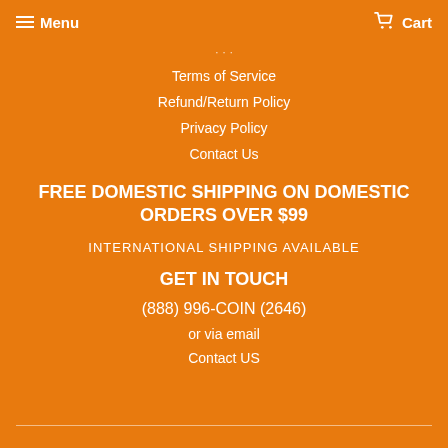Menu  Cart
Terms of Service
Refund/Return Policy
Privacy Policy
Contact Us
FREE DOMESTIC SHIPPING ON DOMESTIC ORDERS OVER $99
INTERNATIONAL SHIPPING AVAILABLE
GET IN TOUCH
(888) 996-COIN (2646)
or via email
Contact US